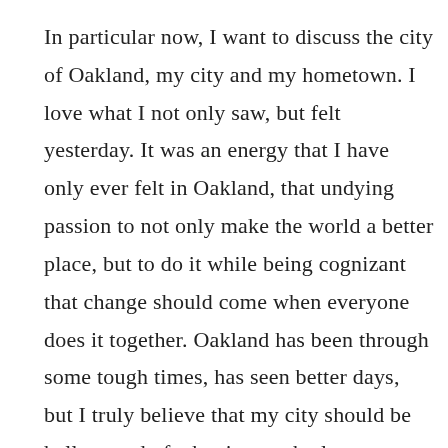In particular now, I want to discuss the city of Oakland, my city and my hometown. I love what I not only saw, but felt yesterday. It was an energy that I have only ever felt in Oakland, that undying passion to not only make the world a better place, but to do it while being cognizant that change should come when everyone does it together. Oakland has been through some tough times, has seen better days, but I truly believe that my city should be hella proud of what just took place yesterday. We showed the world that we still have a strong